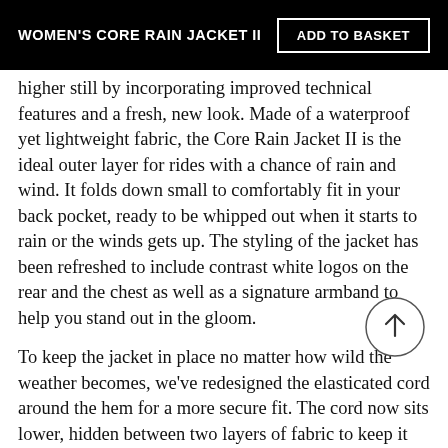WOMEN'S CORE RAIN JACKET II
higher still by incorporating improved technical features and a fresh, new look. Made of a waterproof yet lightweight fabric, the Core Rain Jacket II is the ideal outer layer for rides with a chance of rain and wind. It folds down small to comfortably fit in your back pocket, ready to be whipped out when it starts to rain or the winds gets up. The styling of the jacket has been refreshed to include contrast white logos on the rear and the chest as well as a signature armband to help you stand out in the gloom.
To keep the jacket in place no matter how wild the weather becomes, we've redesigned the elasticated cord around the hem for a more secure fit. The cord now sits lower, hidden between two layers of fabric to keep it out